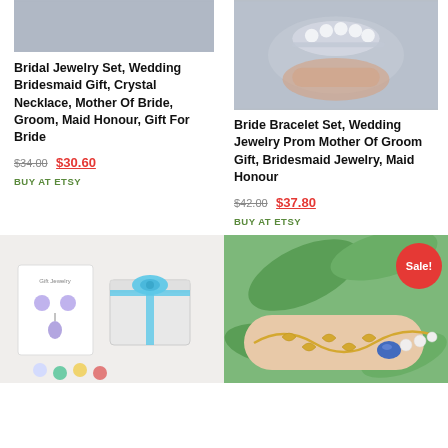[Figure (photo): Gray background product image placeholder for bridal jewelry set]
Bridal Jewelry Set, Wedding Bridesmaid Gift, Crystal Necklace, Mother Of Bride, Groom, Maid Honour, Gift For Bride
$34.00 $30.60
BUY AT ETSY
[Figure (photo): Photo of crystal bracelet held in hand against gray background]
Bride Bracelet Set, Wedding Jewelry Prom Mother Of Groom Gift, Bridesmaid Jewelry, Maid Honour
$42.00 $37.80
BUY AT ETSY
[Figure (photo): Photo of jewelry gift box with blue bow, necklace and earrings set on white background]
[Figure (photo): Photo of gold leaf bracelet with blue gemstone and pearl beads on green leaf background, with red Sale! badge]